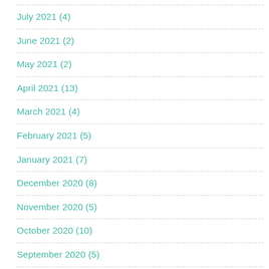July 2021 (4)
June 2021 (2)
May 2021 (2)
April 2021 (13)
March 2021 (4)
February 2021 (5)
January 2021 (7)
December 2020 (8)
November 2020 (5)
October 2020 (10)
September 2020 (5)
August 2020 (3)